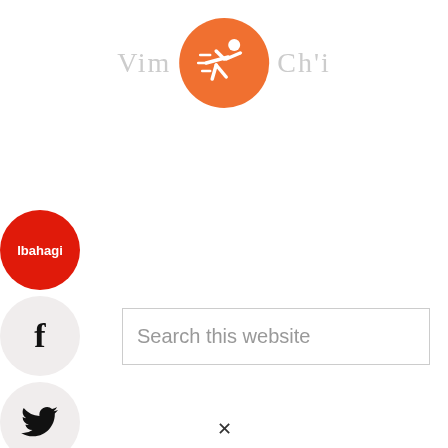[Figure (logo): Website logo with text 'Vim' on left, orange circle with running figure icon in center, 'Ch'i' on right]
[Figure (illustration): Red circle share button labeled 'Ibahagi' (Share in Filipino), Facebook icon circle, Twitter bird icon circle, Google+ icon circle, crown icon circle — social sharing sidebar]
Search this website